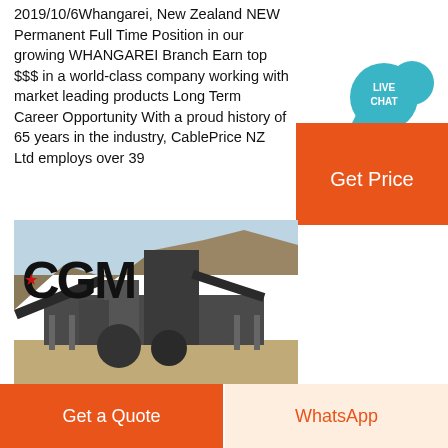2019/10/6Whangarei, New Zealand NEW Permanent Full Time Position in our growing WHANGAREI Branch Earn top $$$ in a world-class company working with market leading products Long Term Career Opportunity With a proud history of 65 years in the industry, CablePrice NZ Ltd employs over 39
[Figure (other): Orange 'Get Price' button with teal 'LIVE CHAT' speech bubble icon]
[Figure (photo): Industrial CGM crushing/mining plant machinery at a quarry site with hills in the background, featuring the CGM logo with red star]
[Figure (other): Two bottom buttons: orange 'Get a Quote' button on left and light 'WhatsApp' button with orange text on right]